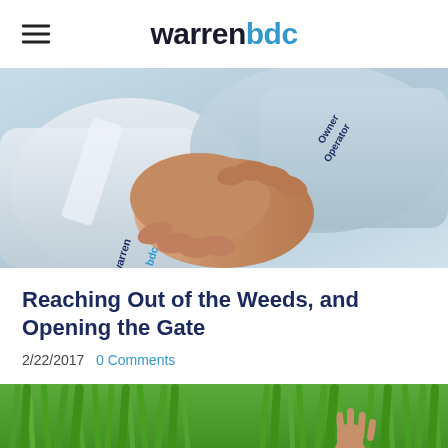warrenbdc
[Figure (photo): Two people shaking hands. One cuff reads 'warrenbdc', the other reads 'Owner Operator'.]
Reaching Out of the Weeds, and Opening the Gate
2/22/2017  0 Comments
[Figure (photo): Hands reaching up out of a field of tall green grass/weeds.]